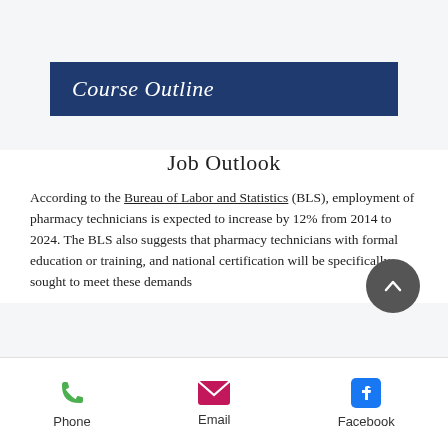Course Outline
Job Outlook
According to the Bureau of Labor and Statistics (BLS), employment of pharmacy technicians is expected to increase by 12% from 2014 to 2024. The BLS also suggests that pharmacy technicians with formal education or training, and national certification will be specifically sought to meet these demands
Phone  Email  Facebook